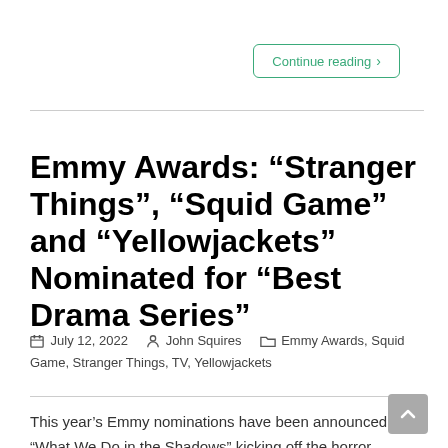Continue reading ›
Emmy Awards: “Stranger Things”, “Squid Game” and “Yellowjackets” Nominated for “Best Drama Series”
July 12, 2022   John Squires   Emmy Awards, Squid Game, Stranger Things, TV, Yellowjackets
This year’s Emmy nominations have been announced, with “What We Do in the Shadows” kicking off the horror representation with an “Outstanding Comedy Series”